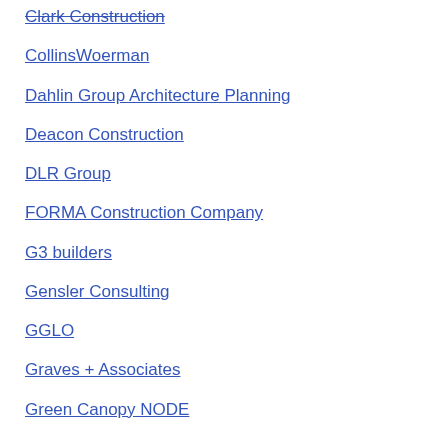Clark Construction
CollinsWoerman
Dahlin Group Architecture Planning
Deacon Construction
DLR Group
FORMA Construction Company
G3 builders
Gensler Consulting
GGLO
Graves + Associates
Green Canopy NODE